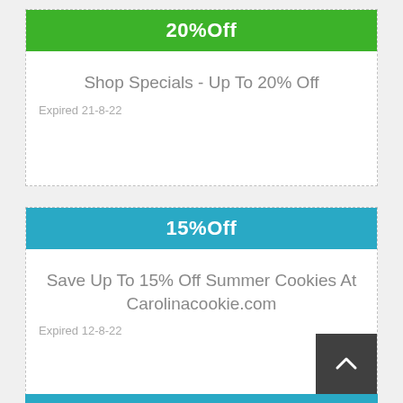20%Off
Shop Specials - Up To 20% Off
Expired 21-8-22
15%Off
Save Up To 15% Off Summer Cookies At Carolinacookie.com
Expired 12-8-22